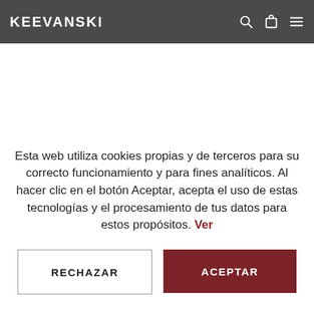KEEVANSKI
[Figure (screenshot): Dark blue/grey hero image partially visible behind the navigation header bar]
Esta web utiliza cookies propias y de terceros para su correcto funcionamiento y para fines analíticos. Al hacer clic en el botón Aceptar, acepta el uso de estas tecnologías y el procesamiento de tus datos para estos propósitos. Ver
RECHAZAR
ACEPTAR